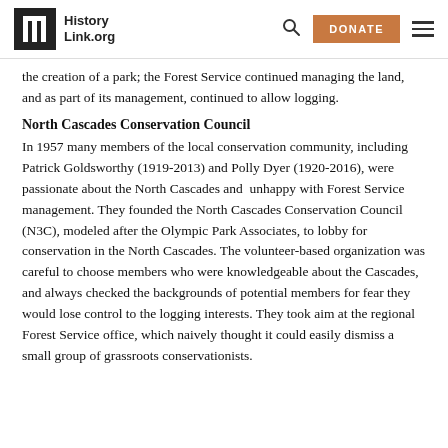HistoryLink.org
the creation of a park; the Forest Service continued managing the land, and as part of its management, continued to allow logging.
North Cascades Conservation Council
In 1957 many members of the local conservation community, including Patrick Goldsworthy (1919-2013) and Polly Dyer (1920-2016), were passionate about the North Cascades and unhappy with Forest Service management. They founded the North Cascades Conservation Council (N3C), modeled after the Olympic Park Associates, to lobby for conservation in the North Cascades. The volunteer-based organization was careful to choose members who were knowledgeable about the Cascades, and always checked the backgrounds of potential members for fear they would lose control to the logging interests. They took aim at the regional Forest Service office, which naively thought it could easily dismiss a small group of grassroots conservationists.